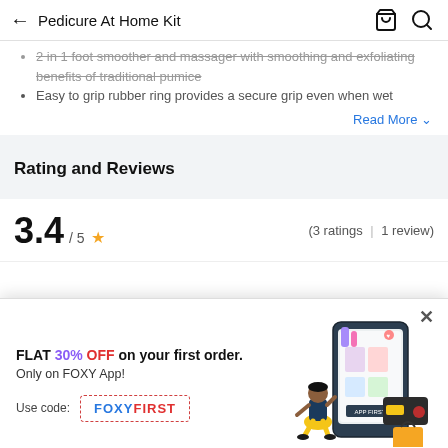← Pedicure At Home Kit
2 in 1 foot smoother and massager with smoothing and exfoliating benefits of traditional pumice
Easy to grip rubber ring provides a secure grip even when wet
Read More ▾
Rating and Reviews
3.4 / 5 ★ (3 ratings | 1 review)
[Figure (infographic): Promotional banner overlay for FOXY App: FLAT 30% OFF on your first order. Only on FOXY App! Use code: FOXYFIRST. Illustration of person sitting near a phone with products.]